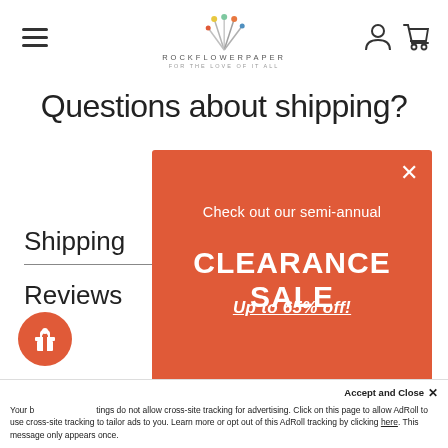ROCKFLOWERPAPER — FOR THE LOVE OF IT ALL
Questions about shipping?
Shipping
Reviews
[Figure (screenshot): Popup modal with orange background. Text: 'Check out our semi-annual CLEARANCE SALE Up to 65% off!' and a SHOP NOW button. Has an X close button in top right.]
Accept and Close ✕ Your browser settings do not allow cross-site tracking for advertising. Click on this page to allow AdRoll to use cross-site tracking to tailor ads to you. Learn more or opt out of this AdRoll tracking by clicking here. This message only appears once.